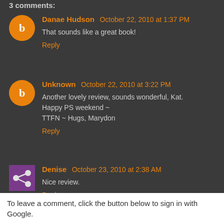3 comments:
Danae Hudson October 22, 2010 at 1:37 PM
That sounds like a great book!
Reply
Unknown October 22, 2010 at 3:22 PM
Another lovely review, sounds wonderful, Kat.
Happy PS weekend ~
TTFN ~ Hugs, Marydon
Reply
Denise October 23, 2010 at 2:38 AM
Nice review.
Reply
To leave a comment, click the button below to sign in with Google.